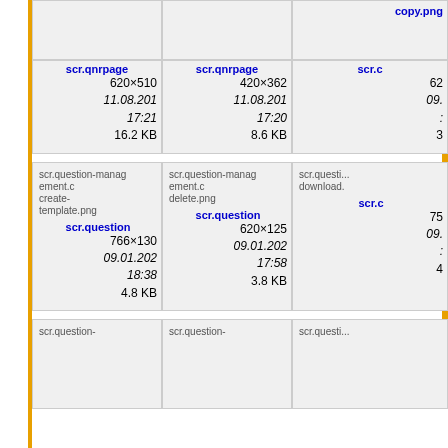copy.png
scr.qnrpage...
620×510
11.08.201
17:21
16.2 KB
scr.qnrpage...
420×362
11.08.201
17:20
8.6 KB
scr.c...
62...
09....
:
3
[Figure (screenshot): File browser grid showing image thumbnails with filenames, dimensions, dates and sizes]
scr.question-management.c
create-template.png
scr.questio...
766×130
09.01.202
18:38
4.8 KB
scr.question-management.c
delete.png
scr.questio...
620×125
09.01.202
17:58
3.8 KB
scr.questi...
download...
scr.c...
75...
09....
:
4
scr.question-
scr.question-
scr.questi...